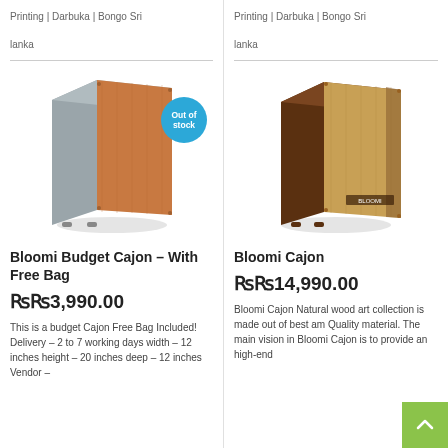Printing | Darbuka | Bongo Sri lanka
[Figure (photo): Bloomi Budget Cajon – a wooden box drum with grey top and orange/tan front face, shown at an angle. Has an 'Out of stock' blue circle badge overlay.]
Bloomi Budget Cajon – With Free Bag
₨₨3,990.00
This is a budget Cajon Free Bag Included! Delivery – 2 to 7 working days width – 12 inches height – 20 inches deep – 12 inches Vendor –
Printing | Darbuka | Bongo Sri lanka
[Figure (photo): Bloomi Cajon – a wooden box drum with dark brown sides and lighter tan front face, shown at an angle. Brand label visible on front.]
Bloomi Cajon
₨₨14,990.00
Bloomi Cajon Natural wood art collection is made out of best am Quality material. The main vision in Bloomi Cajon is to provide an high-end